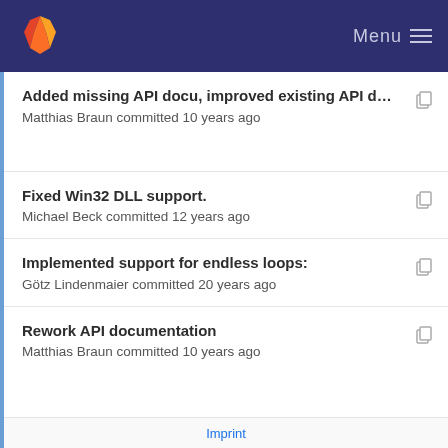GitLab — Menu
Added missing API docu, improved existing API d… — Matthias Braun committed 10 years ago
Fixed Win32 DLL support. — Michael Beck committed 12 years ago
Implemented support for endless loops: — Götz Lindenmaier committed 20 years ago
Rework API documentation — Matthias Braun committed 10 years ago
Added missing API docu, improved existing API d… — Matthias Braun committed 10 years ago
Imprint